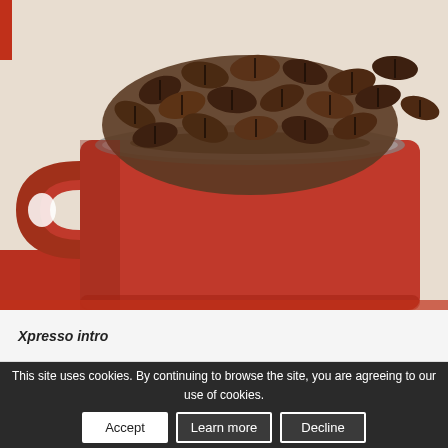[Figure (photo): Close-up photo of a red ceramic coffee mug filled with roasted coffee beans, photographed from the side. The mug handle is visible on the left with a bright highlight. The background is a warm cream/white color. Red tablecloth visible at bottom left.]
Xpresso intro
This site uses cookies. By continuing to browse the site, you are agreeing to our use of cookies.